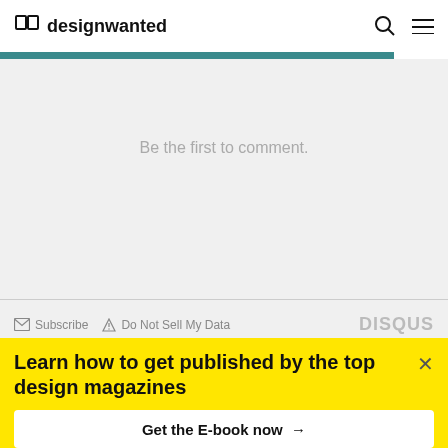designwanted
Be the first to comment.
Subscribe   Do Not Sell My Data   DISQUS
No related posts
Learn how to get published by the top design magazines
Get the E-book now →